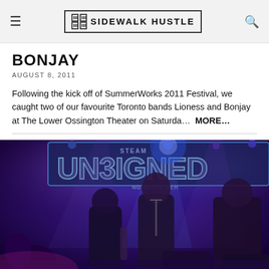SIDEWALK HUSTLE
BONJAY
AUGUST 8, 2011
Following the kick off of SummerWorks 2011 Festival, we caught two of our favourite Toronto bands Lioness and Bonjay at The Lower Ossington Theater on Saturda…  MORE…
[Figure (photo): Concert photo showing a band performing on stage with purple/blue stage lighting, a banner reading 'UNSIGNED' in the background, multiple performers visible including a singer at the microphone and guitarists]